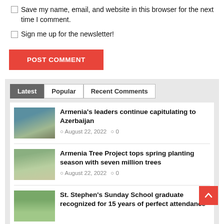Save my name, email, and website in this browser for the next time I comment.
Sign me up for the newsletter!
POST COMMENT
Latest | Popular | Recent Comments
Armenia's leaders continue capitulating to Azerbaijan
August 22, 2022  0
Armenia Tree Project tops spring planting season with seven million trees
August 22, 2022  0
St. Stephen's Sunday School graduate recognized for 15 years of perfect attendance